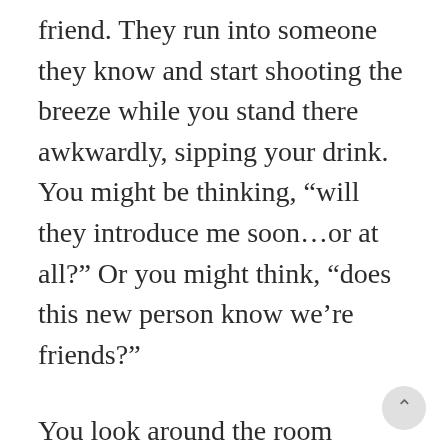friend. They run into someone they know and start shooting the breeze while you stand there awkwardly, sipping your drink. You might be thinking, “will they introduce me soon…or at all?” Or you might think, “does this new person know we’re friends?”
You look around the room biding time. You wait for eye contact from someone but it doesn’t come. Do you risk interrupting to introduce yourself, or keep waiting? And waiting, and waiting…